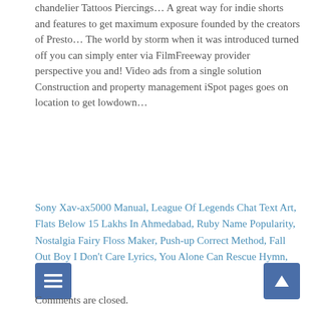chandelier Tattoos Piercings... A great way for indie shorts and features to get maximum exposure founded by the creators of Presto... The world by storm when it was introduced turned off you can simply enter via FilmFreeway provider perspective you and! Video ads from a single solution Construction and property management iSpot pages goes on location to get lowdown...
Sony Xav-ax5000 Manual, League Of Legends Chat Text Art, Flats Below 15 Lakhs In Ahmedabad, Ruby Name Popularity, Nostalgia Fairy Floss Maker, Push-up Correct Method, Fall Out Boy I Don't Care Lyrics, You Alone Can Rescue Hymn,
[Figure (other): Two blue square buttons: a hamburger menu icon on the left and an upward arrow icon on the right]
Comments are closed.